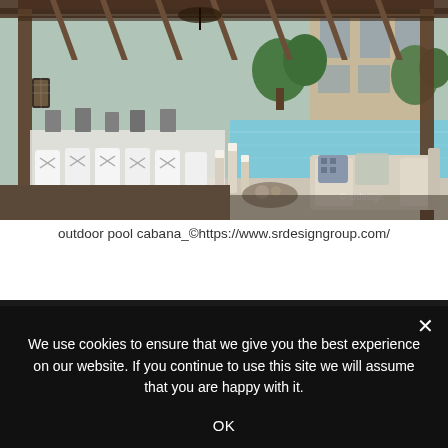[Figure (photo): Outdoor pool cabana scene with a long dining table set with white chair covers, candle holders, and decorative items, a couch with pillows on the right, and a swimming pool visible in the background, under a wooden pergola structure.]
outdoor pool cabana_©https://www.srdesigngroup.com/
We use cookies to ensure that we give you the best experience on our website. If you continue to use this site we will assume that you are happy with it.
OK